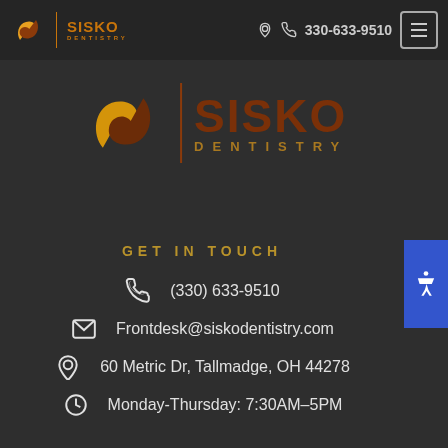[Figure (logo): Sisko Dentistry logo in header with phone number and menu button]
[Figure (logo): Large Sisko Dentistry center logo with stylized S graphic]
GET IN TOUCH
(330) 633-9510
Frontdesk@siskodentistry.com
60 Metric Dr, Tallmadge, OH 44278
Monday-Thursday: 7:30AM–5PM